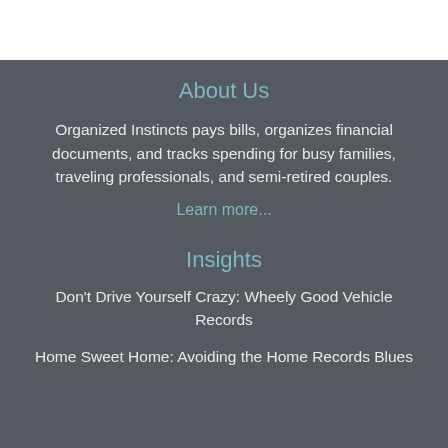About Us
Organized Instincts pays bills, organizes financial documents, and tracks spending for busy families, traveling professionals, and semi-retired couples.
Learn more...
Insights
Don't Drive Yourself Crazy: Wheely Good Vehicle Records
Home Sweet Home: Avoiding the Home Records Blues